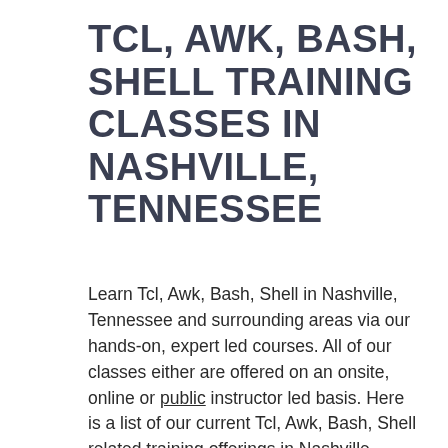TCL, AWK, BASH, SHELL TRAINING CLASSES IN NASHVILLE, TENNESSEE
Learn Tcl, Awk, Bash, Shell in Nashville, Tennessee and surrounding areas via our hands-on, expert led courses. All of our classes either are offered on an onsite, online or public instructor led basis. Here is a list of our current Tcl, Awk, Bash, Shell related training offerings in Nashville, Tennessee: Tcl, Awk,